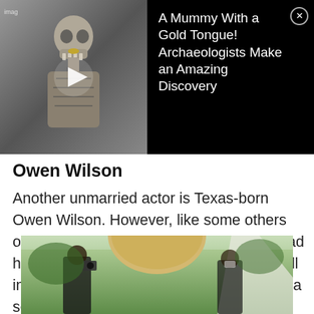[Figure (screenshot): Video ad banner with a mummy thumbnail on the left and text on a black background on the right]
Owen Wilson
Another unmarried actor is Texas-born Owen Wilson. However, like some others on our list, he is a parent. Owen Wilson had his first child with then-girlfriend Jade Duell in 2011. Several years later he welcomed a second with fitness trainer Caroline Lindqvist.
[Figure (photo): Bottom portion of a photo showing Owen Wilson with blonde hair, with photographers and greenery in the background]